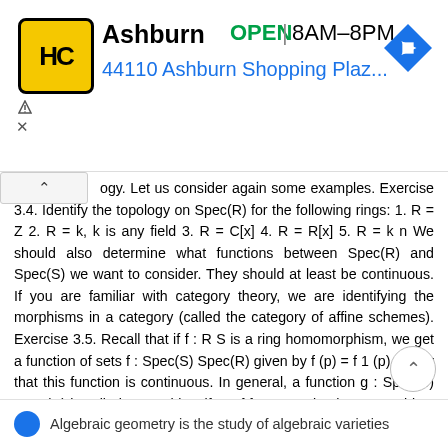[Figure (other): Advertisement banner for Home Depot Ashburn location showing logo, OPEN status, hours 8AM-8PM, and address 44110 Ashburn Shopping Plaz...]
ogy. Let us consider again some examples. Exercise 3.4. Identify the topology on Spec(R) for the following rings: 1. R = Z 2. R = k, k is any field 3. R = C[x] 4. R = R[x] 5. R = k n We should also determine what functions between Spec(R) and Spec(S) we want to consider. They should at least be continuous. If you are familiar with category theory, we are identifying the morphisms in a category (called the category of affine schemes). Exercise 3.5. Recall that if f : R S is a ring homomorphism, we get a function of sets f : Spec(S) Spec(R) given by f (p) = f 1 (p). Show that this function is continuous. In general, a function g : Spec(S) Spec(R) is called a morphism if g = f for some ring homomorphism f : R S. We can redefine what algebraic geometry is in terms of prime spectra. Definition 3.6. An affine algebraic variety is Spec(S/I) where S = k[x 1,..., x n ], k is algebraically closed and I = I. 7
Algebraic geometry is the study of algebraic varieties...